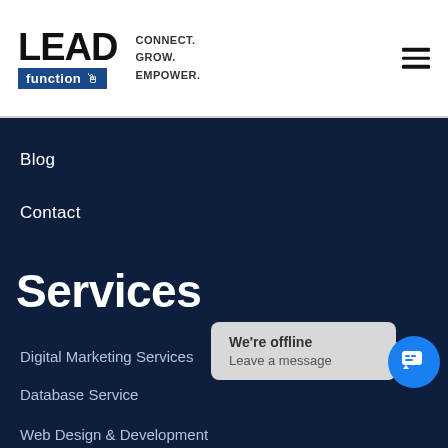LEAD function — CONNECT. GROW. EMPOWER.
Blog
Contact
Services
Digital Marketing Services
Database Service
Web Design & Development
We're offline
Leave a message